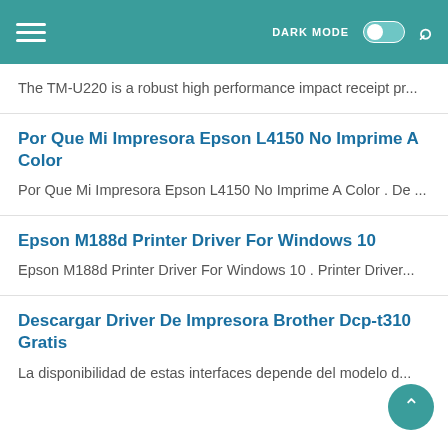DARK MODE [toggle] [search]
The TM-U220 is a robust high performance impact receipt pr...
Por Que Mi Impresora Epson L4150 No Imprime A Color
Por Que Mi Impresora Epson L4150 No Imprime A Color . De ...
Epson M188d Printer Driver For Windows 10
Epson M188d Printer Driver For Windows 10 . Printer Driver...
Descargar Driver De Impresora Brother Dcp-t310 Gratis
La disponibilidad de estas interfaces depende del modelo d...